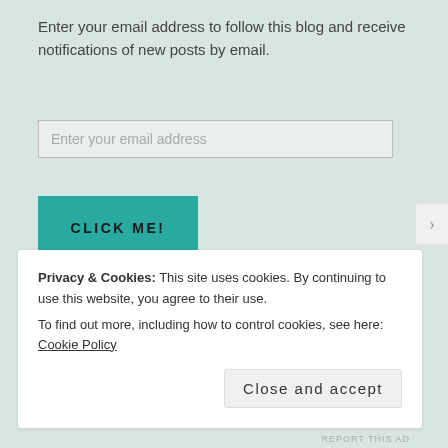Enter your email address to follow this blog and receive notifications of new posts by email.
Enter your email address
CLICK ME!
Join 401 other followers
Follow Ace and Demi Travel Stories
Privacy & Cookies: This site uses cookies. By continuing to use this website, you agree to their use.
To find out more, including how to control cookies, see here: Cookie Policy
Close and accept